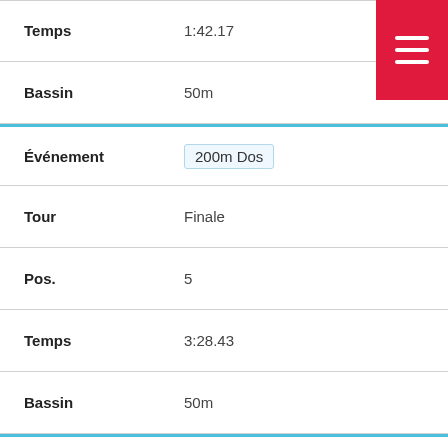Temps: 1:42.17
Bassin: 50m
Événement: 200m Dos
Tour: Finale
Pos.: 5
Temps: 3:28.43
Bassin: 50m
Événement: 200m Dos
Tour: Éliminatoire